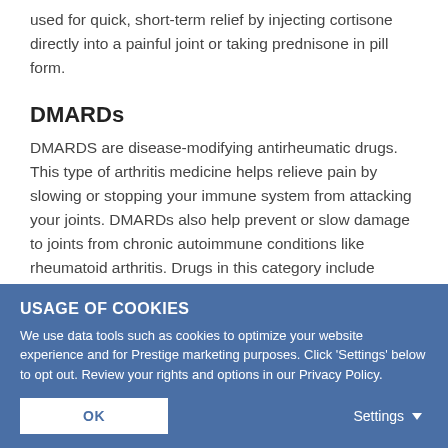used for quick, short-term relief by injecting cortisone directly into a painful joint or taking prednisone in pill form.
DMARDs
DMARDS are disease-modifying antirheumatic drugs. This type of arthritis medicine helps relieve pain by slowing or stopping your immune system from attacking your joints. DMARDs also help prevent or slow damage to joints from chronic autoimmune conditions like rheumatoid arthritis. Drugs in this category include methotrexate and hydroxychloroquine, and are often used in
USAGE OF COOKIES
We use data tools such as cookies to optimize your website experience and for Prestige marketing purposes. Click 'Settings' below to opt out. Review your rights and options in our Privacy Policy.
OK    Settings